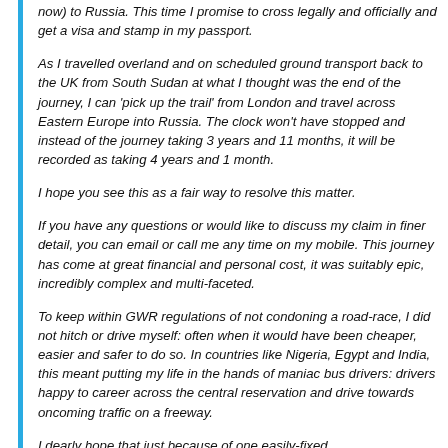now) to Russia. This time I promise to cross legally and officially and get a visa and stamp in my passport.
As I travelled overland and on scheduled ground transport back to the UK from South Sudan at what I thought was the end of the journey, I can ‘pick up the trail’ from London and travel across Eastern Europe into Russia. The clock won’t have stopped and instead of the journey taking 3 years and 11 months, it will be recorded as taking 4 years and 1 month.
I hope you see this as a fair way to resolve this matter.
If you have any questions or would like to discuss my claim in finer detail, you can email or call me any time on my mobile. This journey has come at great financial and personal cost, it was suitably epic, incredibly complex and multi-faceted.
To keep within GWR regulations of not condoning a road-race, I did not hitch or drive myself: often when it would have been cheaper, easier and safer to do so. In countries like Nigeria, Egypt and India, this meant putting my life in the hands of maniac bus drivers: drivers happy to career across the central reservation and drive towards oncoming traffic on a freeway.
I dearly hope that just because of one easily-fixed